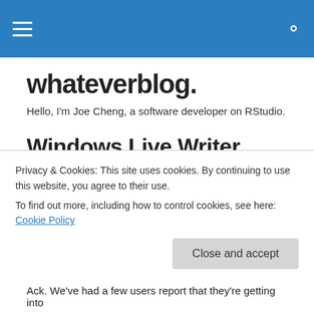[hamburger menu icon] [search icon]
whateverblog.
Hello, I'm Joe Cheng, a software developer on RStudio.
Windows Live Writer 2009 won't start?
Update Feb 12 2009: The updated version of Writer
Privacy & Cookies: This site uses cookies. By continuing to use this website, you agree to their use.
To find out more, including how to control cookies, see here: Cookie Policy
Close and accept
Ack. We've had a few users report that they're getting into